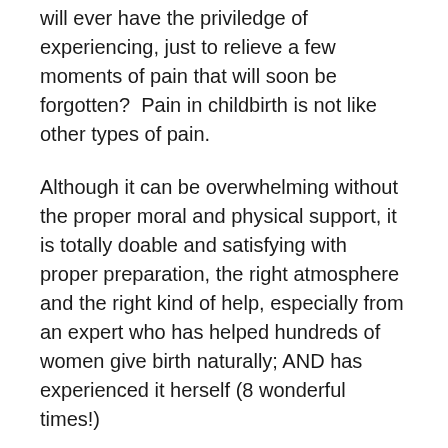will ever have the priviledge of experiencing, just to relieve a few moments of pain that will soon be forgotten?  Pain in childbirth is not like other types of pain.
Although it can be overwhelming without the proper moral and physical support, it is totally doable and satisfying with proper preparation, the right atmosphere and the right kind of help, especially from an expert who has helped hundreds of women give birth naturally; AND has experienced it herself (8 wonderful times!)